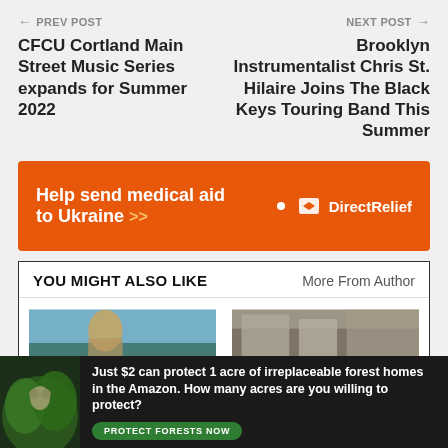← PREV POST
CFCU Cortland Main Street Music Series expands for Summer 2022
NEXT POST →
Brooklyn Instrumentalist Chris St. Hilaire Joins The Black Keys Touring Band This Summer
[Figure (infographic): Orange advertisement banner: Help send medical aid to Ukraine >> with Direct Relief logo on right]
YOU MIGHT ALSO LIKE    More From Author
[Figure (photo): Thumbnail image showing a person with blonde hair outdoors]
[Figure (photo): Thumbnail image showing a building exterior]
[Figure (infographic): Dark banner ad: Just $2 can protect 1 acre of irreplaceable forest homes in the Amazon. How many acres are you willing to protect? PROTECT FORESTS NOW button]